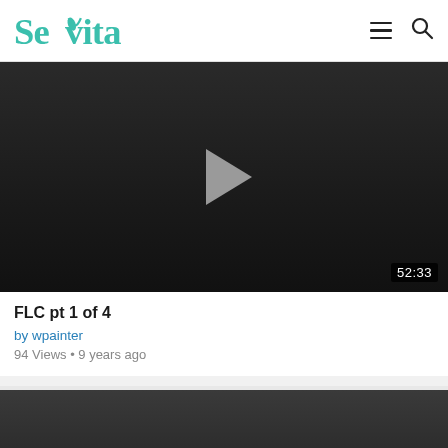Sevita
[Figure (screenshot): Video thumbnail with dark background, gray play button triangle in center, duration 52:33 shown in bottom right corner]
FLC pt 1 of 4
by wpainter
94 Views • 9 years ago
[Figure (screenshot): Second video thumbnail, dark gray background, partially visible]